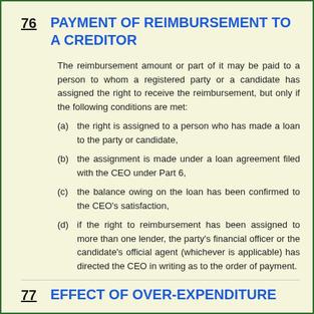76  PAYMENT OF REIMBURSEMENT TO A CREDITOR
The reimbursement amount or part of it may be paid to a person to whom a registered party or a candidate has assigned the right to receive the reimbursement, but only if the following conditions are met:
(a) the right is assigned to a person who has made a loan to the party or candidate,
(b) the assignment is made under a loan agreement filed with the CEO under Part 6,
(c) the balance owing on the loan has been confirmed to the CEO's satisfaction,
(d) if the right to reimbursement has been assigned to more than one lender, the party's financial officer or the candidate's official agent (whichever is applicable) has directed the CEO in writing as to the order of payment.
77  EFFECT OF OVER-EXPENDITURE